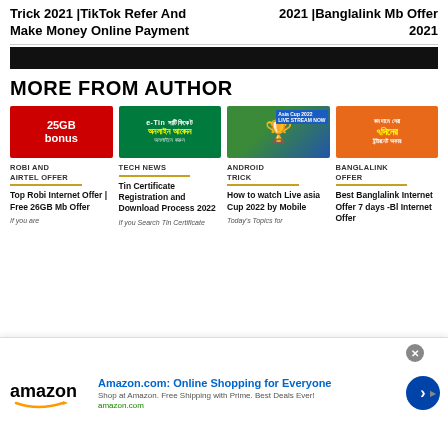Trick 2021 |TikTok Refer And Make Money Online Payment
2021 |Banglalink Mb Offer 2021
MORE FROM AUTHOR
[Figure (photo): Red banner with '25GB bonus' text for Robi offer]
[Figure (photo): e-Tin certificate online application green banner]
[Figure (photo): Asia Cup 2022 trophy image]
[Figure (photo): Banglalink 7 days internet offer orange banner]
ROBI AND AIRTEL OFFER
TECH NEWS
ANDROID TRICK
BANGLALINK OFFER
Top Robi Internet Offer | Free 26GB Mb Offer
Tin Certificate Registration and Download Process 2022
How to watch Live asia Cup 2022 by Mobile
Best Banglalink Internet Offer 7 days -Bl Internet Offer
If you are
If you Search Tin Certificate
Today's Topics for
Amazon.com: Online Shopping for Everyone
Shop at Amazon. Free Shipping with Prime. Best Deals Ever!
amazon.com